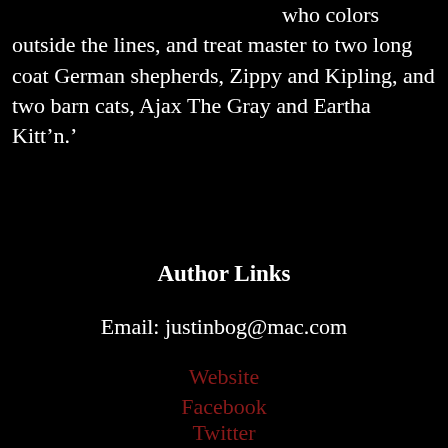who colors outside the lines, and treat master to two long coat German shepherds, Zippy and Kipling, and two barn cats, Ajax The Gray and Eartha Kitt’n.’
Author Links
Email: justinbog@mac.com
Website
Facebook
Twitter
Buy Links
Amazon